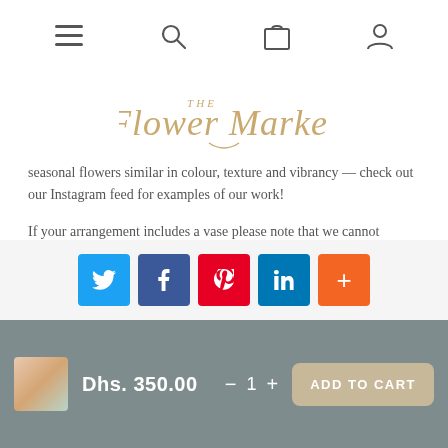Navigation bar with menu, search, cart, and account icons
[Figure (logo): The Flower Market cursive script logo in gold/tan color]
seasonal flowers similar in colour, texture and vibrancy — check out our Instagram feed for examples of our work!
If your arrangement includes a vase please note that we cannot guarantee the exact vase shown in the picture however we will endeavor to provide a similar look and feel!
[Figure (infographic): Row of social sharing buttons: Twitter (blue), Facebook (dark blue), Pinterest (red), LinkedIn (blue), More/Add (orange)]
Dhs. 350.00  —  1  +  ADD TO CART